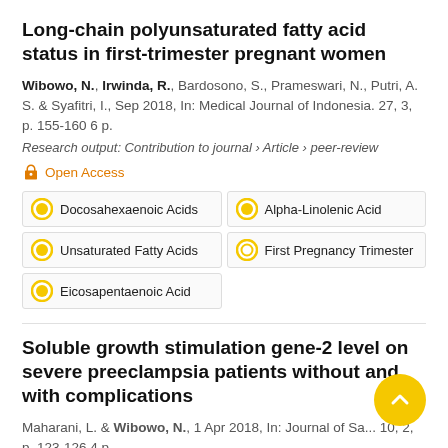Long-chain polyunsaturated fatty acid status in first-trimester pregnant women
Wibowo, N., Irwinda, R., Bardosono, S., Prameswari, N., Putri, A. S. & Syafitri, I., Sep 2018, In: Medical Journal of Indonesia. 27, 3, p. 155-160 6 p.
Research output: Contribution to journal › Article › peer-review
Open Access
Docosahexaenoic Acids
Alpha-Linolenic Acid
Unsaturated Fatty Acids
First Pregnancy Trimester
Eicosapentaenoic Acid
Soluble growth stimulation gene-2 level on severe preeclampsia patients without and with complications
Maharani, L. & Wibowo, N., 1 Apr 2018, In: Journal of Sa... 10, 2, p. 123-126 4 p.
Research output: Contribution to journal › Article › peer-review